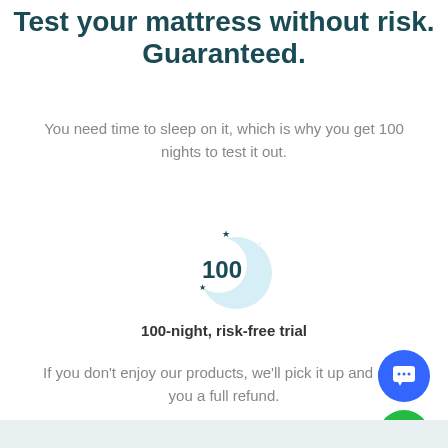Test your mattress without risk. Guaranteed.
You need time to sleep on it, which is why you get 100 nights to test it out.
[Figure (illustration): Circular icon with crescent moon and stars, showing the number 100 inside]
100-night, risk-free trial
If you don't enjoy our products, we'll pick it up and give you a full refund.